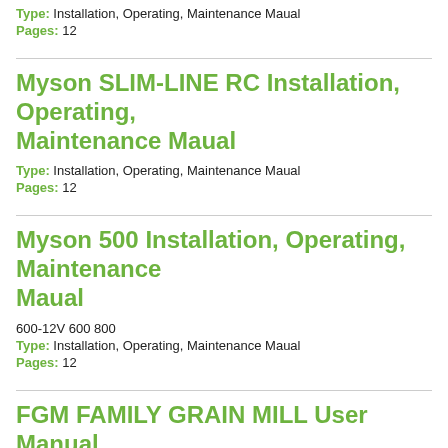Type: Installation, Operating, Maintenance Maual
Pages: 12
Myson SLIM-LINE RC Installation, Operating, Maintenance Maual
Type: Installation, Operating, Maintenance Maual
Pages: 12
Myson 500 Installation, Operating, Maintenance Maual
600-12V 600 800
Type: Installation, Operating, Maintenance Maual
Pages: 12
FGM FAMILY GRAIN MILL User Manual